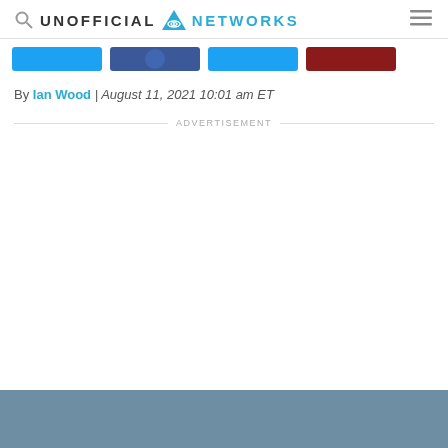UNOFFICIAL NETWORKS
[Figure (screenshot): Social media sharing buttons: Twitter (blue), Facebook (dark blue), Pinterest (blue), Reddit (dark red)]
By Ian Wood | August 11, 2021 10:01 am ET
ADVERTISEMENT
[Figure (photo): Blue-gray colored image visible at bottom of page]